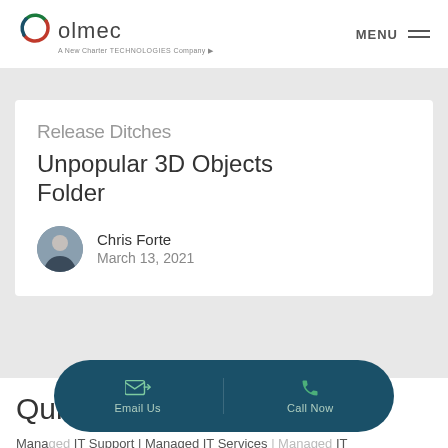[Figure (logo): Olmec logo - circular icon with green and red swoosh, text 'olmec', subtitle 'A New Charter Technologies Company']
Release Ditches Unpopular 3D Objects Folder
Chris Forte
March 13, 2021
Quick Links:
Managed IT Services | Managed IT Services New Jersey, IT Support New York, IT Support